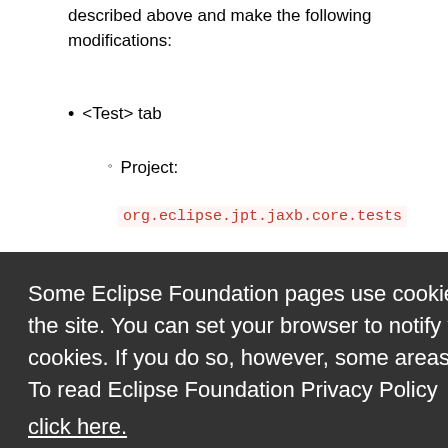described above and make the following modifications:
<Test> tab
Project:
org.eclipse.jpt.jaxb.core.tests
nal.JaxbO
s
Some Eclipse Foundation pages use cookies to better serve you when you return to the site. You can set your browser to notify you before you receive a cookie or turn off cookies. If you do so, however, some areas of some sites may not function properly. To read Eclipse Foundation Privacy Policy click here.
Decline
Allow cookies
Project: